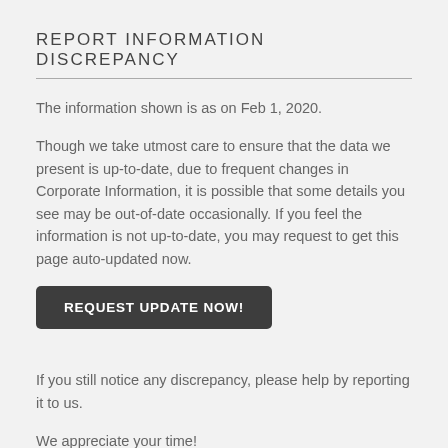REPORT INFORMATION DISCREPANCY
The information shown is as on Feb 1, 2020.
Though we take utmost care to ensure that the data we present is up-to-date, due to frequent changes in Corporate Information, it is possible that some details you see may be out-of-date occasionally. If you feel the information is not up-to-date, you may request to get this page auto-updated now.
REQUEST UPDATE NOW!
If you still notice any discrepancy, please help by reporting it to us.
We appreciate your time!